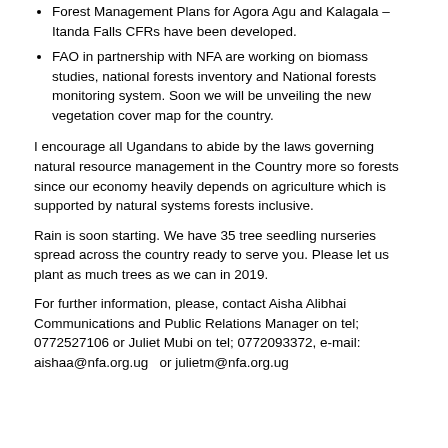Forest Management Plans for Agora Agu and Kalagala – Itanda Falls CFRs have been developed.
FAO in partnership with NFA are working on biomass studies, national forests inventory and National forests monitoring system. Soon we will be unveiling the new vegetation cover map for the country.
I encourage all Ugandans to abide by the laws governing natural resource management in the Country more so forests since our economy heavily depends on agriculture which is supported by natural systems forests inclusive.
Rain is soon starting. We have 35 tree seedling nurseries spread across the country ready to serve you. Please let us plant as much trees as we can in 2019.
For further information, please, contact Aisha Alibhai Communications and Public Relations Manager on tel; 0772527106 or Juliet Mubi on tel; 0772093372, e-mail: aishaa@nfa.org.ug  or julietm@nfa.org.ug